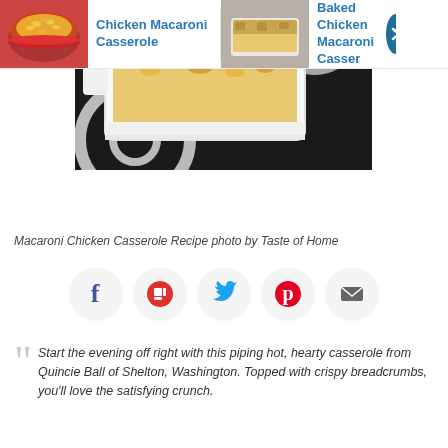[Figure (screenshot): Navigation bar with two recipe thumbnails: Chicken Macaroni Casserole (left, red bowl) and Baked Chicken Macaroni Casserole (right, white dish with breadcrumbs), with a dark teal arrow circle on the right]
[Figure (photo): Close-up photo of a white casserole dish with macaroni chicken casserole on a black and white patterned surface]
Macaroni Chicken Casserole Recipe photo by Taste of Home
[Figure (infographic): Social sharing icons row: Facebook (blue f), Flipboard (red F), Twitter (blue bird), Pinterest (red P), Email (dark envelope) — each in a light grey circle]
Start the evening off right with this piping hot, hearty casserole from Quincie Ball of Shelton, Washington. Topped with crispy breadcrumbs, you'll love the satisfying crunch.